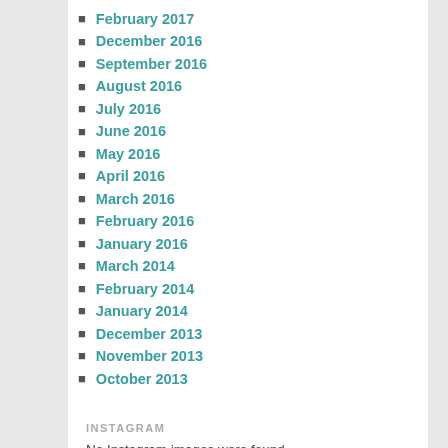February 2017
December 2016
September 2016
August 2016
July 2016
June 2016
May 2016
April 2016
March 2016
February 2016
January 2016
March 2014
February 2014
January 2014
December 2013
November 2013
October 2013
INSTAGRAM
No Instagram images were found.